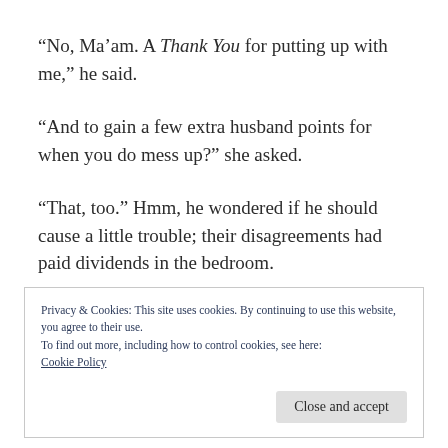“No, Ma’am. A Thank You for putting up with me,” he said.
“And to gain a few extra husband points for when you do mess up?” she asked.
“That, too.” Hmm, he wondered if he should cause a little trouble; their disagreements had paid dividends in the bedroom.
Privacy & Cookies: This site uses cookies. By continuing to use this website, you agree to their use.
To find out more, including how to control cookies, see here: Cookie Policy
Close and accept